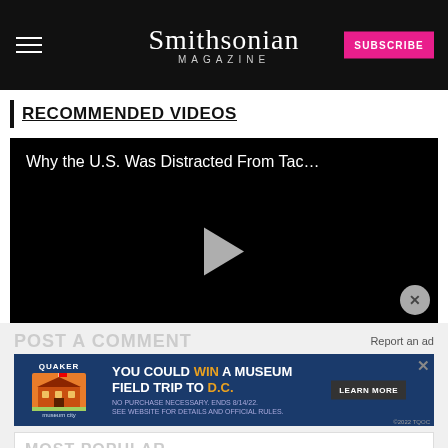Smithsonian MAGAZINE
RECOMMENDED VIDEOS
[Figure (screenshot): Video player with black background showing title 'Why the U.S. Was Distracted From Tac...' and a play button in the center. A close (X) button appears in the bottom-right corner.]
POST A COMMENT
Report an ad
[Figure (photo): Advertisement banner for Quaker promoting a museum field trip to D.C. contest. Shows a museum building illustration, text 'YOU COULD WIN A MUSEUM FIELD TRIP TO D.C.' with a LEARN MORE button. Fine print: 'NO PURCHASE NECESSARY. ENDS 8/14/22. SEE WEBSITE FOR DETAILS AND OFFICIAL RULES.']
MOST POPULAR